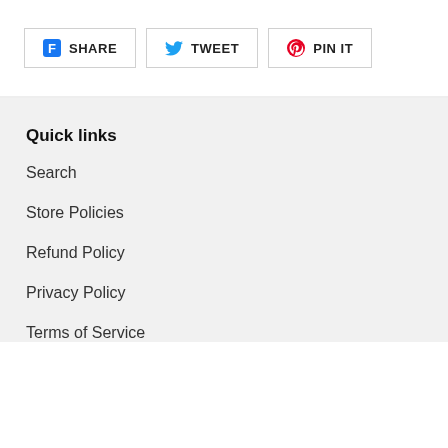[Figure (other): Social share buttons: Facebook SHARE, Twitter TWEET, Pinterest PIN IT]
Quick links
Search
Store Policies
Refund Policy
Privacy Policy
Terms of Service